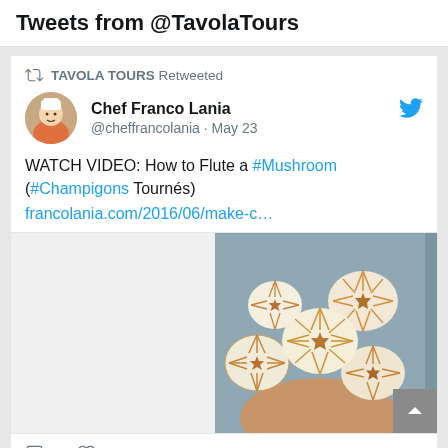Tweets from @TavolaTours
TAVOLA TOURS Retweeted
Chef Franco Lania @cheffrancolania · May 23
WATCH VIDEO: How to Flute a #Mushroom (#Champigons Tournés) francolania.com/2016/06/make-c…
[Figure (photo): A hand holding several decoratively fluted white and brown mushrooms (champignons tournés) against a grey background]
1 comment, 2 likes